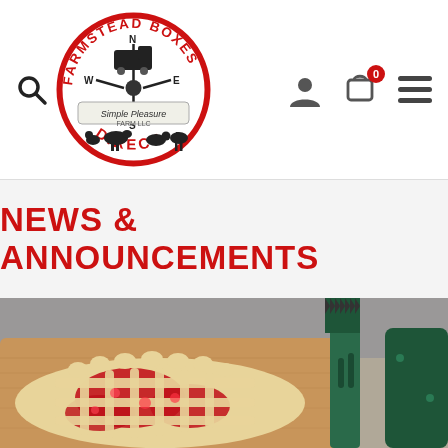[Figure (logo): Farmstead Boxes Direct logo — circular badge with compass rose, delivery truck, farm animals, and text 'Simple Pleasure Farm LLC']
NEWS & ANNOUNCEMENTS
[Figure (photo): A cherry lattice pie on a wooden cutting board with a spatula/pie server beside it]